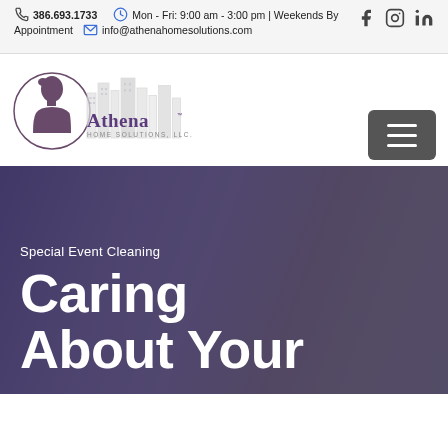386.693.1733  Mon - Fri: 9:00 am - 3:00 pm | Weekends By Appointment  info@athenahomesolutions.com
[Figure (logo): Athena Home Solutions LLC logo with woman profile in circle and city skyline]
Special Event Cleaning
Caring About Your